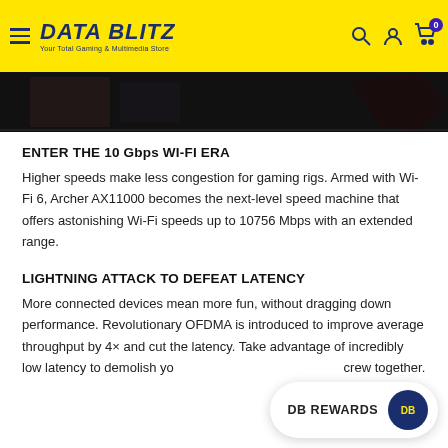DATA BLITZ — Your Total Gaming & Multimedia Store
[Figure (photo): Dark product image strip showing gaming hardware]
ENTER THE 10 Gbps WI-FI ERA
Higher speeds make less congestion for gaming rigs. Armed with Wi-Fi 6, Archer AX11000 becomes the next-level speed machine that offers astonishing Wi-Fi speeds up to 10756 Mbps with an extended range.
LIGHTNING ATTACK TO DEFEAT LATENCY
More connected devices mean more fun, without dragging down performance. Revolutionary OFDMA is introduced to improve average throughput by 4× and cut the latency. Take advantage of incredibly low latency to demolish your opponents, and bring your crew together.
DB REWARDS